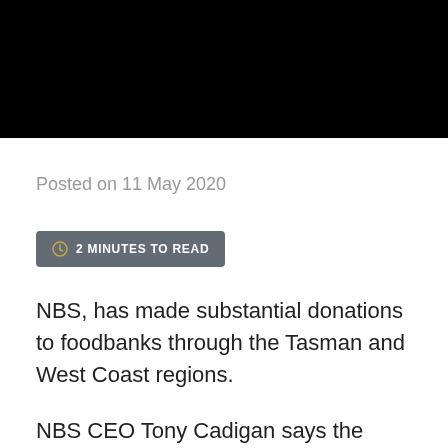[Figure (photo): Black banner/header image at top of page]
Posted on 11 May 2020
2 MINUTES TO READ
NBS, has made substantial donations to foodbanks through the Tasman and West Coast regions.
NBS CEO Tony Cadigan says the NBS team prides itself on giving back to the local